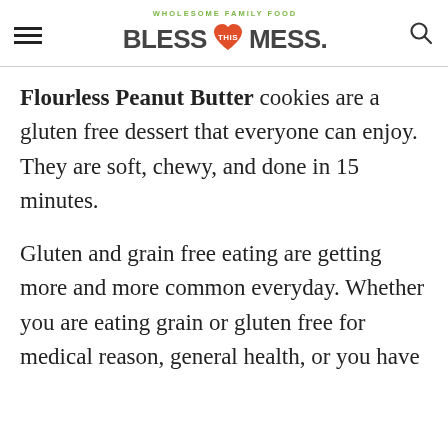WHOLESOME FAMILY FOOD | BLESS THIS MESS.
Flourless Peanut Butter cookies are a gluten free dessert that everyone can enjoy. They are soft, chewy, and done in 15 minutes.
Gluten and grain free eating are getting more and more common everyday. Whether you are eating grain or gluten free for medical reason, general health, or you have